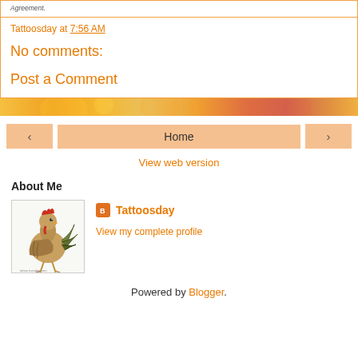Agreement.
Tattoosday at 7:56 AM
No comments:
Post a Comment
[Figure (infographic): Decorative orange/pink gradient banner strip]
< Home >
View web version
About Me
[Figure (photo): Colorful rooster/chicken illustration used as profile photo]
Tattoosday
View my complete profile
Powered by Blogger.